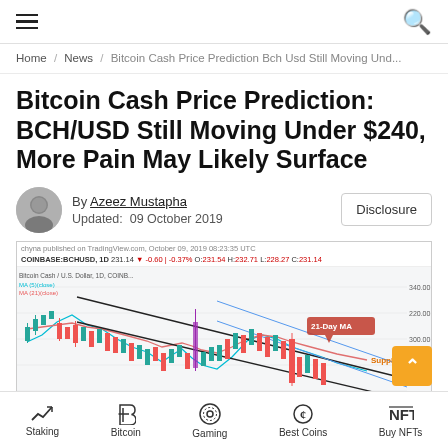≡  [hamburger]   [search icon]
Home / News / Bitcoin Cash Price Prediction Bch Usd Still Moving Und...
Bitcoin Cash Price Prediction: BCH/USD Still Moving Under $240, More Pain May Likely Surface
By Azeez Mustapha
Updated: 09 October 2019
[Figure (screenshot): BCH/USD candlestick chart from TradingView showing Bitcoin Cash price action with 5-day and 21-day moving averages, a 21-Day MA label callout, and a downward channel. Published October 09, 2019. Price around 231.14.]
Staking | Bitcoin | Gaming | Best Coins | Buy NFTs